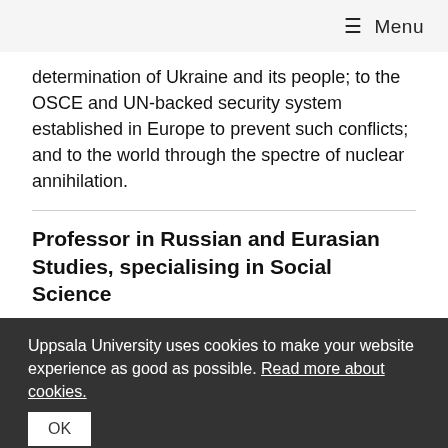☰ Menu
determination of Ukraine and its people; to the OSCE and UN-backed security system established in Europe to prevent such conflicts; and to the world through the spectre of nuclear annihilation.
Professor in Russian and Eurasian Studies, specialising in Social Science
Expressen intervjuar Martin Kragh
I vår är Martin Kragh aktuell med boken "Det fallna
Uppsala University uses cookies to make your website experience as good as possible. Read more about cookies. OK